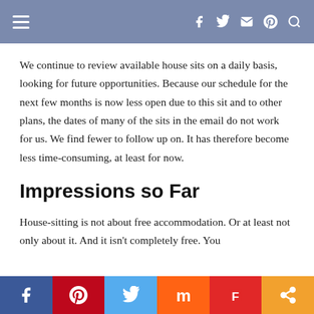Navigation bar with hamburger menu and social icons (f, twitter, email, pinterest, search)
We continue to review available house sits on a daily basis, looking for future opportunities. Because our schedule for the next few months is now less open due to this sit and to other plans, the dates of many of the sits in the email do not work for us. We find fewer to follow up on. It has therefore become less time-consuming, at least for now.
Impressions so Far
House-sitting is not about free accommodation. Or at least not only about it. And it isn't completely free. You
Social share bar: Facebook, Pinterest, Twitter, Mix, Flipboard, Share